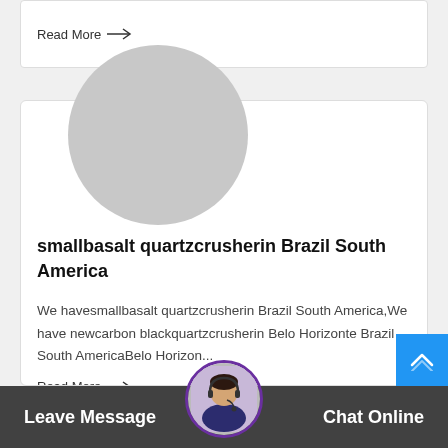Read More →
[Figure (illustration): Large gray circle placeholder image above the card]
smallbasalt quartzcrusherin Brazil South America
We havesmallbasalt quartzcrusherin Brazil South America,We have newcarbon blackquartzcrusherin Belo Horizonte Brazil South AmericaBelo Horizon...
Read More →
Leave Message  Chat Online